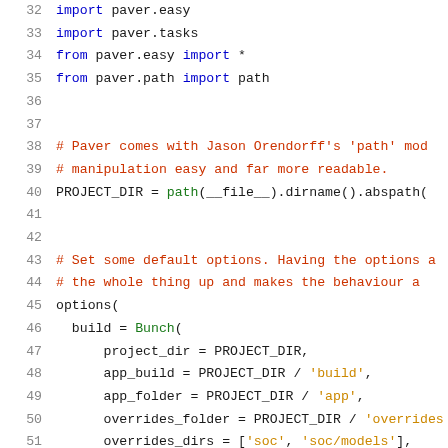32  import paver.easy
33  import paver.tasks
34  from paver.easy import *
35  from paver.path import path
36  
37  
38  # Paver comes with Jason Orendorff's 'path' mod...
39  # manipulation easy and far more readable.
40  PROJECT_DIR = path(__file__).dirname().abspath(...
41  
42  
43  # Set some default options. Having the options a...
44  # the whole thing up and makes the behaviour a ...
45  options(
46      build = Bunch(
47          project_dir = PROJECT_DIR,
48          app_build = PROJECT_DIR / 'build',
49          app_folder = PROJECT_DIR / 'app',
50          overrides_folder = PROJECT_DIR / 'overrides...
51          overrides_dirs = ['soc', 'soc/models'],
52          overrides_files = ['soc/models/universities...